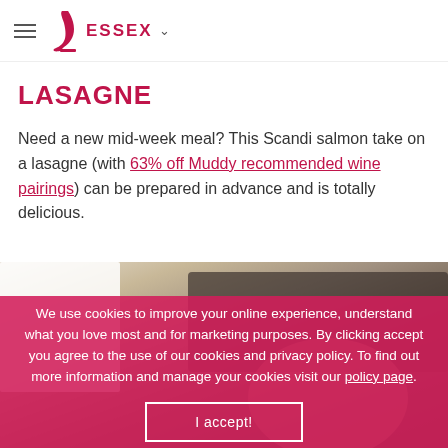ESSEX
LASAGNE
Need a new mid-week meal? This Scandi salmon take on a lasagne (with 63% off Muddy recommended wine pairings) can be prepared in advance and is totally delicious.
[Figure (photo): Blurry kitchen scene with white object on left, dark appliance in background, and a plate/dish visible]
We use cookies to improve your online experience, understand what you love most and for marketing purposes. By clicking accept you agree to the use of our cookies and privacy policy. To find out more information and manage your cookies visit our policy page.
I accept!